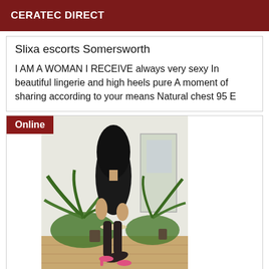CERATEC DIRECT
Slixa escorts Somersworth
I AM A WOMAN I RECEIVE always very sexy In beautiful lingerie and high heels pure A moment of sharing according to your means Natural chest 95 E
[Figure (photo): Woman sitting on a stool wearing black dress, stockings and pink heels, with dark curly hair covering her face. Indoor setting with plants and white walls in background. 'Online' badge in top left corner.]